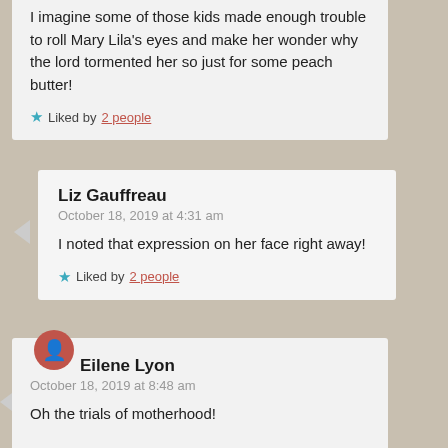I imagine some of those kids made enough trouble to roll Mary Lila's eyes and make her wonder why the lord tormented her so just for some peach butter!
★ Liked by 2 people
Liz Gauffreau
October 18, 2019 at 4:31 am
I noted that expression on her face right away!
★ Liked by 2 people
Eilene Lyon
October 18, 2019 at 8:48 am
Oh the trials of motherhood!